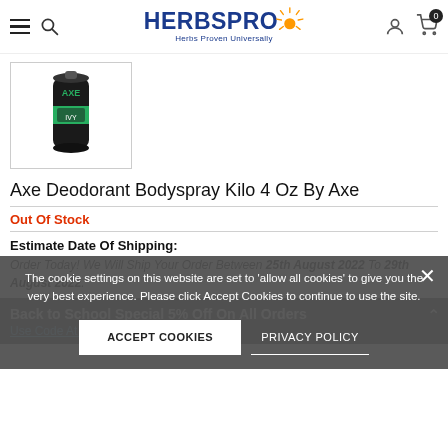HERBSPRO - Herbs Proven Universally
[Figure (photo): Axe Deodorant Bodyspray Kilo product image in a black can with green accents]
Axe Deodorant Bodyspray Kilo 4 Oz By Axe
Out Of Stock
Estimate Date Of Shipping:
Order Today! We Will Ship Your Order Between 25th August 2022 To 29th August 2022.
Back to School Special 5% Off On All Orders
Use Code At Checkout
The cookie settings on this website are set to 'allow all cookies' to give you the very best experience. Please click Accept Cookies to continue to use the site.